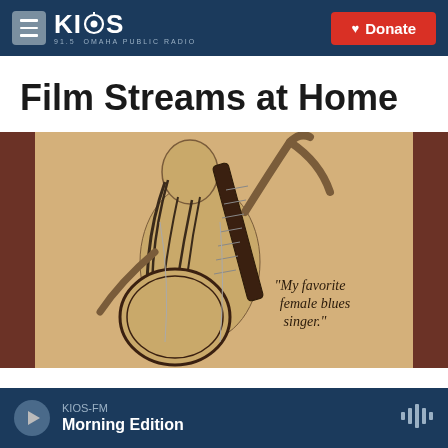KIOS 91.5 Omaha Public Radio | Donate
Film Streams at Home
[Figure (illustration): Pencil sketch illustration of a woman seen from behind playing a banjo, with text quote reading 'My favorite female blues singer.' on a tan/sepia background with dark brown side borders]
KIOS-FM Morning Edition